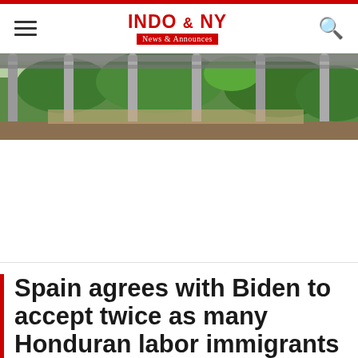INDO & NY News & Announces
[Figure (photo): Outdoor structure with metal/concrete pillars and a roof, surrounded by tropical vegetation including palm trees and green foliage, viewed from below.]
Spain agrees with Biden to accept twice as many Honduran labor immigrants